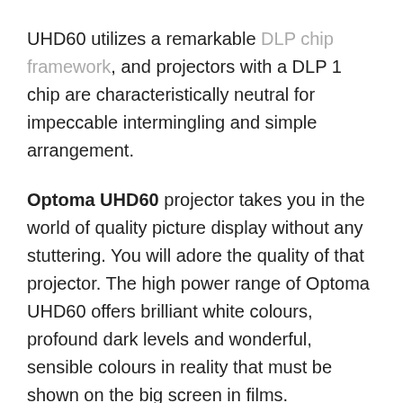UHD60 utilizes a remarkable DLP chip framework, and projectors with a DLP 1 chip are characteristically neutral for impeccable intermingling and simple arrangement.
Optoma UHD60 projector takes you in the world of quality picture display without any stuttering. You will adore the quality of that projector. The high power range of Optoma UHD60 offers brilliant white colours, profound dark levels and wonderful, sensible colours in reality that must be shown on the big screen in films.
In short, without any further delay, you can give it a